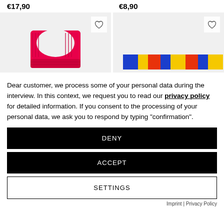€17,90
€8,90
[Figure (photo): Two product images: left shows a pink/magenta swimsuit top on a light gray background; right shows a colorful patterned item on a light gray background. Both have heart (wishlist) icons in the top-right corner.]
Dear customer, we process some of your personal data during the interview. In this context, we request you to read our privacy policy for detailed information. If you consent to the processing of your personal data, we ask you to respond by typing "confirmation".
DENY
ACCEPT
SETTINGS
Imprint | Privacy Policy